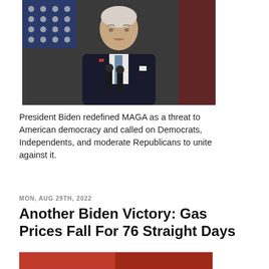[Figure (photo): President Biden speaking at a podium with microphones, wearing a dark suit, with American flags in the background]
President Biden redefined MAGA as a threat to American democracy and called on Democrats, Independents, and moderate Republicans to unite against it.
MON, AUG 29TH, 2022
Another Biden Victory: Gas Prices Fall For 76 Straight Days
[Figure (photo): Partial photo visible at the bottom of the page]